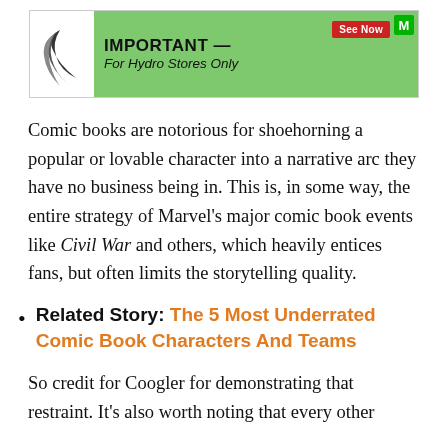[Figure (other): Advertisement banner: green background with logo, text 'IMPORTANT — For Hydro Stores Only', red 'See Now' button, and green 'M' badge]
Comic books are notorious for shoehorning a popular or lovable character into a narrative arc they have no business being in. This is, in some way, the entire strategy of Marvel's major comic book events like Civil War and others, which heavily entices fans, but often limits the storytelling quality.
Related Story: The 5 Most Underrated Comic Book Characters And Teams
So credit for Coogler for demonstrating that restraint. It's also worth noting that every other